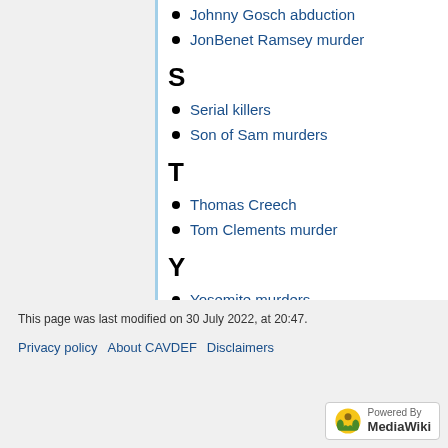Johnny Gosch abduction
JonBenet Ramsey murder
S
Serial killers
Son of Sam murders
T
Thomas Creech
Tom Clements murder
Y
Yosemite murders
This page was last modified on 30 July 2022, at 20:47.
Privacy policy   About CAVDEF   Disclaimers